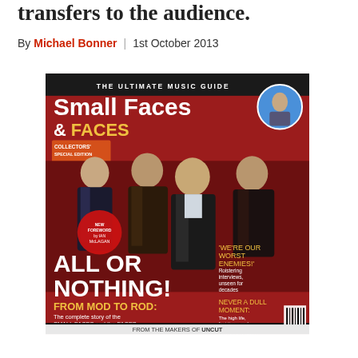transfers to the audience.
By Michael Bonner | 1st October 2013
[Figure (photo): Magazine cover of 'The Ultimate Music Guide: Small Faces & Faces' Collectors' Special Edition. Features the Small Faces band members on the cover with text 'ALL OR NOTHING! FROM MOD TO ROD: The complete story of the SMALL FACES and the FACES... A NEW LOOK AT EVERY ALBUM'. Also features 'WE'RE OUR OWN WORST ENEMIES! Roistering interviews, unseen for decades' and 'NEVER A DULL MOMENT: The high life, fast times and remarkable records of ROD STEWART'. Bottom text reads 'PLUS MARRIOTT SOLO HUMBLE PIE BONNIE LANE' and 'FROM THE MAKERS OF UNCUT'.]